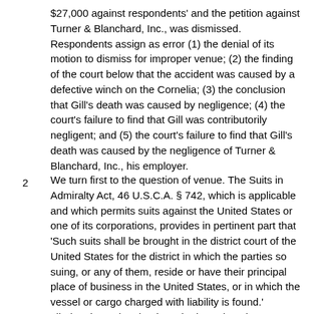$27,000 against respondents' and the petition against Turner & Blanchard, Inc., was dismissed. Respondents assign as error (1) the denial of its motion to dismiss for improper venue; (2) the finding of the court below that the accident was caused by a defective winch on the Cornelia; (3) the conclusion that Gill's death was caused by negligence; (4) the court's failure to find that Gill was contributorily negligent; and (5) the court's failure to find that Gill's death was caused by the negligence of Turner & Blanchard, Inc., his employer.
2   We turn first to the question of venue. The Suits in Admiralty Act, 46 U.S.C.A. § 742, which is applicable and which permits suits against the United States or one of its corporations, provides in pertinent part that 'Such suits shall be brought in the district court of the United States for the district in which the parties so suing, or any of them, reside or have their principal place of business in the United States, or in which the vessel or cargo charged with liability is found.' Libelant is, and at the time she brought suit was, a resident of New Jersey. Consequently, the Southern District of New York was not the proper district for suit unless the Cornelia was 'found' in it, within the meaning of the statute. While at the time suit was brought, the Cornelia was not in the Southern District of New York but was in the District of New Jersey, she did enter the former upon three occasions before trial. The suit is in personam.